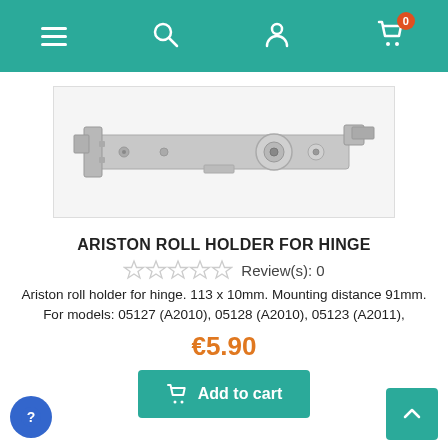Navigation bar with menu, search, user, and cart icons
[Figure (photo): Ariston roll holder for hinge product photo — a metal sliding door roller/hinge bracket, silver metallic, elongated rectangular shape with rollers]
ARISTON ROLL HOLDER FOR HINGE
Review(s): 0
Ariston roll holder for hinge. 113 x 10mm. Mounting distance 91mm. For models: 05127 (A2010), 05128 (A2010), 05123 (A2011),
€5.90
Add to cart